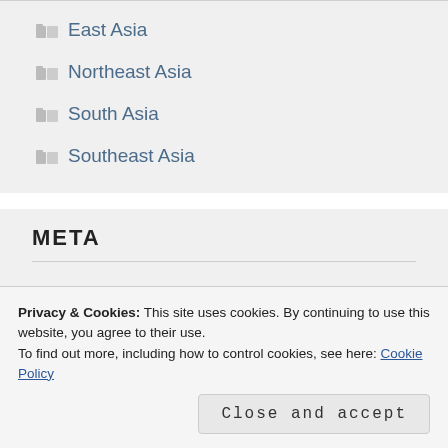East Asia
Northeast Asia
South Asia
Southeast Asia
META
Register
Login
Privacy & Cookies: This site uses cookies. By continuing to use this website, you agree to their use.
To find out more, including how to control cookies, see here: Cookie Policy
Close and accept